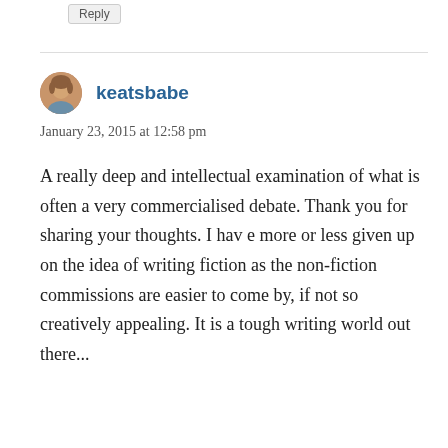Reply
keatsbabe
January 23, 2015 at 12:58 pm
A really deep and intellectual examination of what is often a very commercialised debate. Thank you for sharing your thoughts. I hav e more or less given up on the idea of writing fiction as the non-fiction commissions are easier to come by, if not so creatively appealing. It is a tough writing world out there...